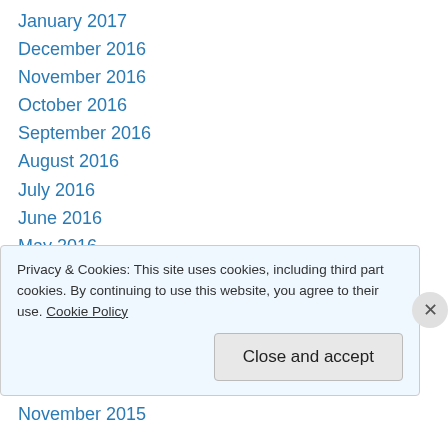January 2017
December 2016
November 2016
October 2016
September 2016
August 2016
July 2016
June 2016
May 2016
April 2016
March 2016
February 2016
January 2016
December 2015
November 2015
Privacy & Cookies: This site uses cookies, including third part cookies. By continuing to use this website, you agree to their use. Cookie Policy
Close and accept